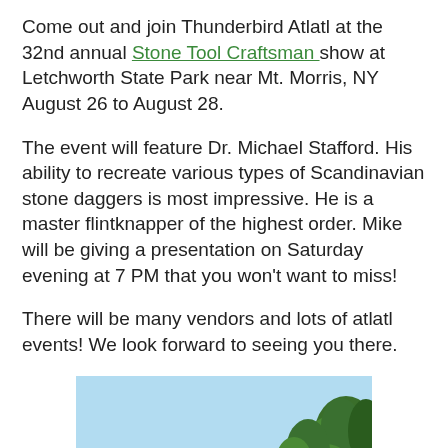Come out and join Thunderbird Atlatl at the 32nd annual Stone Tool Craftsman show at Letchworth State Park near Mt. Morris, NY August 26 to August 28.
The event will feature Dr. Michael Stafford. His ability to recreate various types of Scandinavian stone daggers is most impressive. He is a master flintknapper of the highest order. Mike will be giving a presentation on Saturday evening at 7 PM that you won't want to miss!
There will be many vendors and lots of atlatl events! We look forward to seeing you there.
[Figure (photo): Outdoor photo showing a light blue sky with green trees visible on the right side and a small tree/shrub silhouette near the bottom center.]